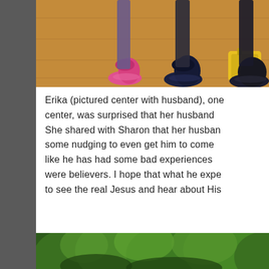[Figure (photo): Cropped photo showing feet and legs of several people seated, wearing colorful shoes (pink sneakers, dark sneakers, yellow bag visible), on a wooden floor.]
Erika (pictured center with husband), one center, was surprised that her husband She shared with Sharon that her husban some nudging to even get him to come like he has had some bad experiences were believers. I hope that what he expe to see the real Jesus and hear about His
[Figure (photo): Bottom portion of a photo showing lush green trees and foliage.]